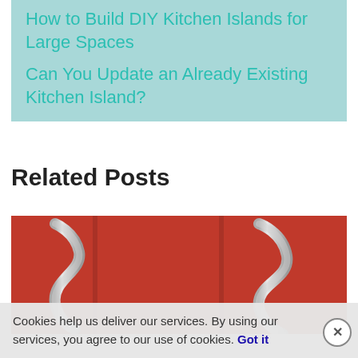How to Build DIY Kitchen Islands for Large Spaces
Can You Update an Already Existing Kitchen Island?
Related Posts
[Figure (photo): Close-up photo of two metallic S-shaped cabinet handles against red cabinet doors with vertical panel dividers]
Cookies help us deliver our services. By using our services, you agree to our use of cookies. Got it